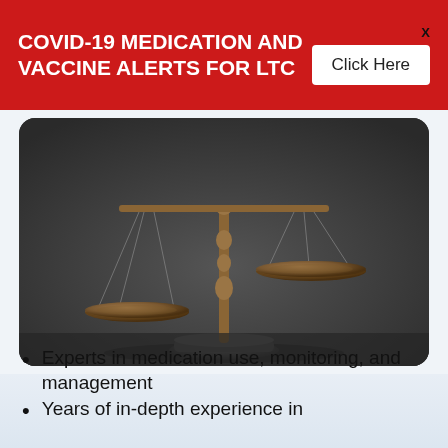COVID-19 MEDICATION AND VACCINE ALERTS FOR LTC
[Figure (photo): Bronze scales of justice on a dark background, with one pan lower than the other, symbolizing legal or regulatory balance.]
Experts in medication use, monitoring, and management
Years of in-depth experience in